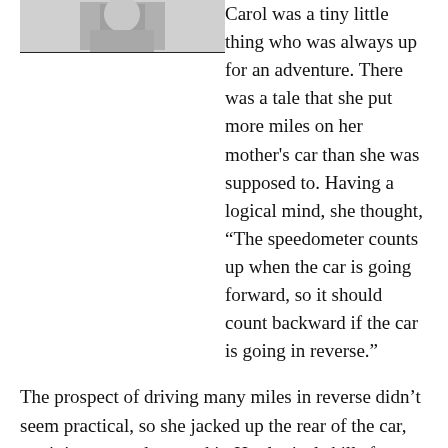[Figure (photo): Black and white photo of a person, cropped, upper left of page]
Carol was a tiny little thing who was always up for an adventure. There was a tale that she put more miles on her mother's car than she was supposed to. Having a logical mind, she thought, “The speedometer counts up when the car is going forward, so it should count backward if the car is going in reverse.”
The prospect of driving many miles in reverse didn’t seem practical, so she jacked up the rear of the car, put it in gear and gunned it. Her logical skills far surpassed her mechanical skills unfortunately. In the story I heard, the jack slipped and the car took off at high speed in reverse.
When she and her mother moved from a ranch house to the Dorington Apartments, Carol was afraid that her neighbors would keep an eye on her and rat her out if she came in late or engaged in other shenanigans. She quickly found out that apartment dwellers are more